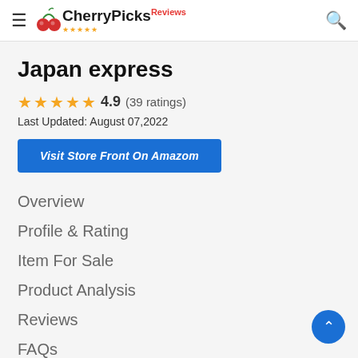CherryPicks Reviews
Japan express
4.9  (39 ratings)
Last Updated: August 07,2022
Visit Store Front On Amazom
Overview
Profile & Rating
Item For Sale
Product Analysis
Reviews
FAQs